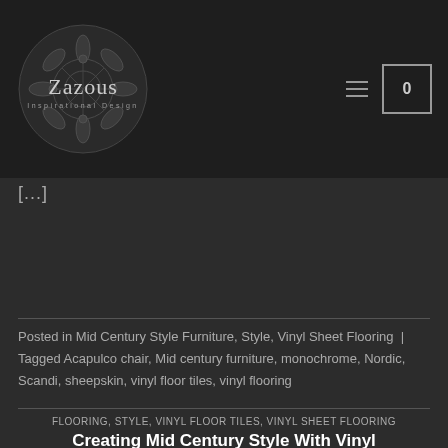[Figure (logo): Zazous Inspirational Design logo — circular dark mandala/snowflake pattern with 'Zazous' in large serif text and 'Inspirational Design' in small spaced letters below]
[...]
Posted in Mid Century Style Furniture, Style, Vinyl Sheet Flooring | Tagged Acapulco chair, Mid century furniture, monochrome, Nordic, Scandi, sheepskin, vinyl floor tiles, vinyl flooring
FLOORING, STYLE, VINYL FLOOR TILES, VINYL SHEET FLOORING
Creating Mid Century Style With Vinyl Flooring